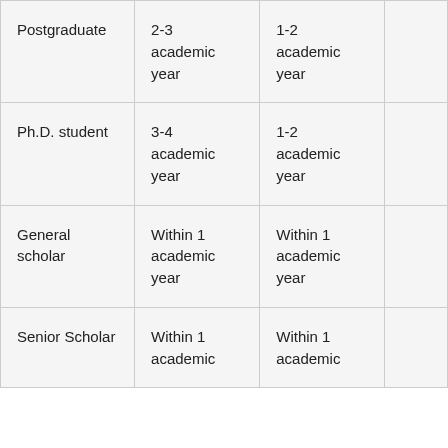| Postgraduate | 2-3 academic year | 1-2 academic year | … |
| Ph.D. student | 3-4 academic year | 1-2 academic year | … |
| General scholar | Within 1 academic year | Within 1 academic year | … |
| Senior Scholar | Within 1 academic | Within 1 academic | … |